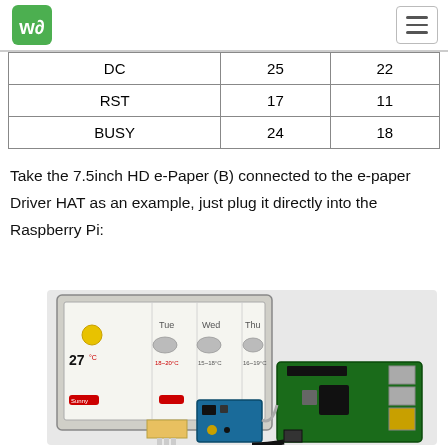Waveshare logo and navigation
| DC | 25 | 22 |
| RST | 17 | 11 |
| BUSY | 24 | 18 |
Take the 7.5inch HD e-Paper (B) connected to the e-paper Driver HAT as an example, just plug it directly into the Raspberry Pi:
[Figure (photo): Photo of a 7.5inch HD e-Paper (B) display showing a weather widget connected to a Raspberry Pi via the e-paper Driver HAT.]